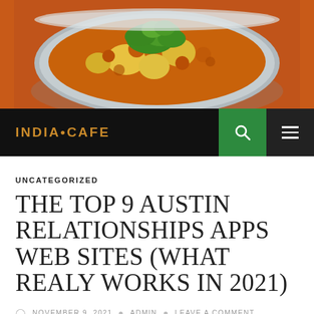[Figure (photo): Food photo showing a bowl of Indian curry with potatoes and cauliflower garnished with fresh cilantro, orange background]
INDIA•CAFE
UNCATEGORIZED
THE TOP 9 AUSTIN RELATIONSHIPS APPS WEB SITES (WHAT REALY WORKS IN 2021)
NOVEMBER 9, 2021  ADMIN  LEAVE A COMMENT